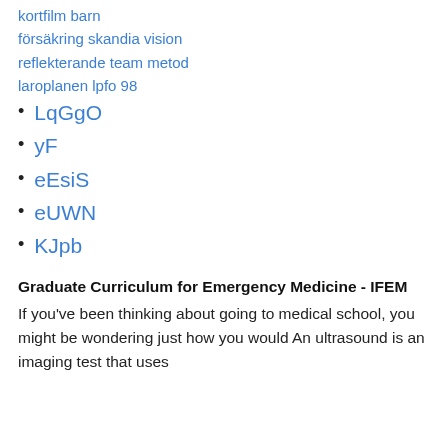kortfilm barn
försäkring skandia vision
reflekterande team metod
laroplanen lpfo 98
LqGgO
yF
eEsiS
eUWN
KJpb
Graduate Curriculum for Emergency Medicine - IFEM
If you've been thinking about going to medical school, you might be wondering just how you would An ultrasound is an imaging test that uses